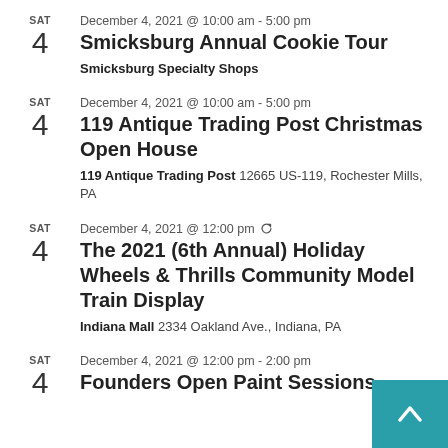SAT 4 | December 4, 2021 @ 10:00 am - 5:00 pm | Smicksburg Annual Cookie Tour | Smicksburg Specialty Shops
SAT 4 | December 4, 2021 @ 10:00 am - 5:00 pm | 119 Antique Trading Post Christmas Open House | 119 Antique Trading Post 12665 US-119, Rochester Mills, PA
SAT 4 | December 4, 2021 @ 12:00 pm (recurring) | The 2021 (6th Annual) Holiday Wheels & Thrills Community Model Train Display | Indiana Mall 2334 Oakland Ave., Indiana, PA
SAT 4 | December 4, 2021 @ 12:00 pm - 2:00 pm | Founders Open Paint Sessions (partial)